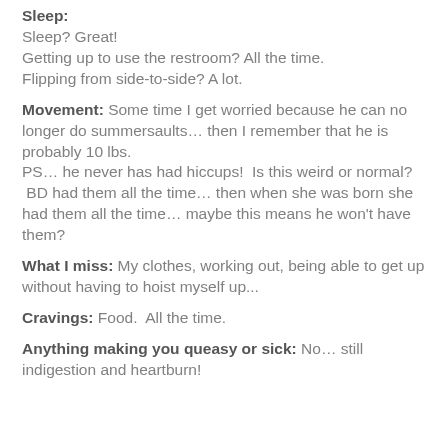Sleep:
Sleep? Great!
Getting up to use the restroom? All the time.
Flipping from side-to-side? A lot.
Movement: Some time I get worried because he can no longer do summersaults… then I remember that he is probably 10 lbs.
PS… he never has had hiccups!  Is this weird or normal?  BD had them all the time… then when she was born she had them all the time… maybe this means he won't have them?
What I miss: My clothes, working out, being able to get up without having to hoist myself up...
Cravings: Food.  All the time.
Anything making you queasy or sick: No… still indigestion and heartburn!